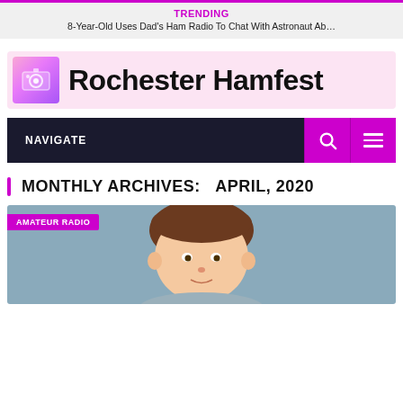TRENDING
8-Year-Old Uses Dad's Ham Radio To Chat With Astronaut Ab…
[Figure (logo): Rochester Hamfest logo with radio icon on pink/purple gradient background]
NAVIGATE
MONTHLY ARCHIVES:  APRIL, 2020
[Figure (photo): Photo of a person (child) with brown hair on blue-grey background, with AMATEUR RADIO category badge]
AMATEUR RADIO